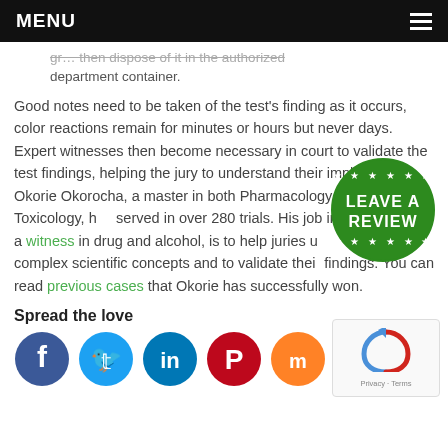MENU
gr… then dispose of it in the authorized department container.
Good notes need to be taken of the test's finding as it occurs, color reactions remain for minutes or hours but never days. Expert witnesses then become necessary in court to validate the test findings, helping the jury to understand their implications. Okorie Okorocha, a master in both Pharmacology and Toxicology, has served in over 280 trials. His job in court as a witness in drug and alcohol, is to help juries understand complex scientific concepts and to validate their findings. You can read previous cases that Okorie has successfully won.
[Figure (logo): Green circular badge with stars and text LEAVE A REVIEW]
Spread the love
[Figure (infographic): Row of social media share icons: Facebook, Twitter, LinkedIn, Pinterest, Mix, Share]
[Figure (logo): reCAPTCHA widget with Privacy and Terms links]